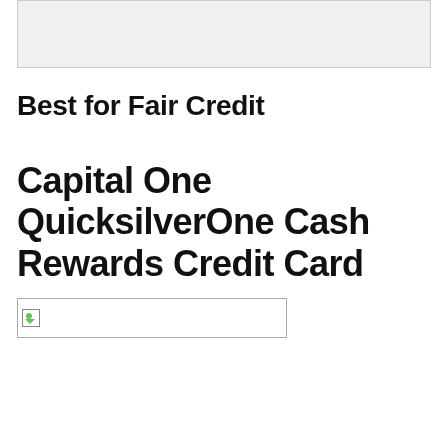[Figure (other): Gray box area at top of page, likely containing an image or content that is not visible]
Best for Fair Credit
Capital One QuicksilverOne Cash Rewards Credit Card
[Figure (photo): Broken image placeholder showing a credit card image for Capital One QuicksilverOne Cash Rewards Credit Card]